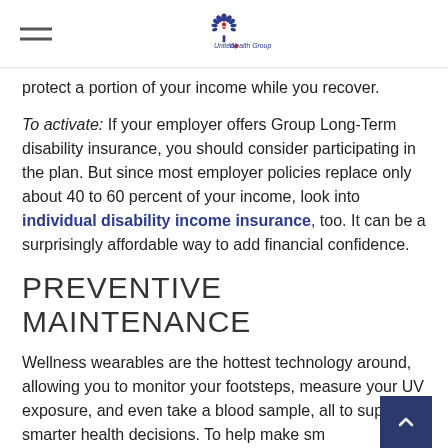United Wealth Group
protect a portion of your income while you recover.
To activate: If your employer offers Group Long-Term disability insurance, you should consider participating in the plan. But since most employer policies replace only about 40 to 60 percent of your income, look into individual disability income insurance, too. It can be a surprisingly affordable way to add financial confidence.
PREVENTIVE MAINTENANCE
Wellness wearables are the hottest technology around, allowing you to monitor your footsteps, measure your UV exposure, and even take a blood sample, all to support smarter health decisions. To help make smarter decisions around your healthcare dollars, consider a health savings account. It's a tax-efficient way to stretch